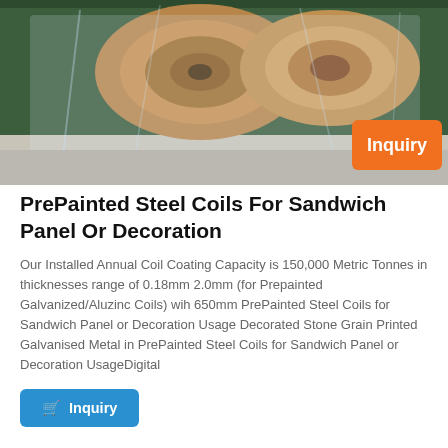[Figure (photo): Rolls of prepainted steel coils wrapped in clear plastic film, stored on a surface with a green background. An orange 'Inquiry' badge appears in the bottom-right corner of the image.]
PrePainted Steel Coils For Sandwich Panel Or Decoration
Our Installed Annual Coil Coating Capacity is 150,000 Metric Tonnes in thicknesses range of 0.18mm 2.0mm (for Prepainted Galvanized/Aluzinc Coils) wih 650mm PrePainted Steel Coils for Sandwich Panel or Decoration Usage Decorated Stone Grain Printed Galvanised Metal in PrePainted Steel Coils for Sandwich Panel or Decoration UsageDigital
Inquiry